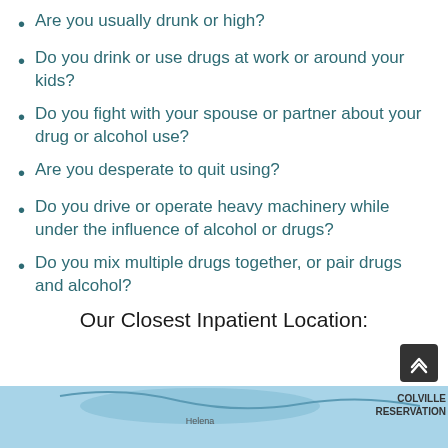Are you usually drunk or high?
Do you drink or use drugs at work or around your kids?
Do you fight with your spouse or partner about your drug or alcohol use?
Are you desperate to quit using?
Do you drive or operate heavy machinery while under the influence of alcohol or drugs?
Do you mix multiple drugs together, or pair drugs and alcohol?
Our Closest Inpatient Location:
[Figure (map): Partial map showing blue water area with 'COLVILLE RESERVATION' text visible on the right side]